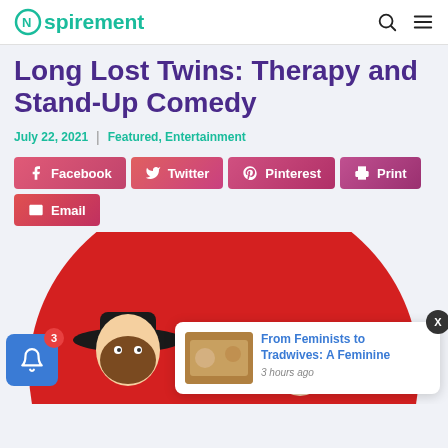Nspirement
Long Lost Twins: Therapy and Stand-Up Comedy
July 22, 2021 | Featured, Entertainment
Facebook Twitter Pinterest Print Email
[Figure (illustration): Cartoon illustration showing two twins with a red circle background; notification popup showing 'From Feminists to Tradwives: A Feminine' article, 3 hours ago]